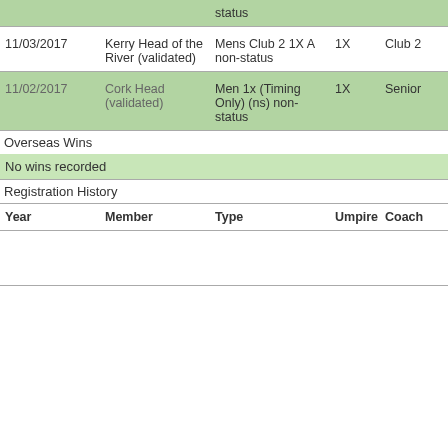| Date | Event | Race | Boat | Category | Status |
| --- | --- | --- | --- | --- | --- |
|  |  | status |  |  |  |
| 11/03/2017 | Kerry Head of the River (validated) | Mens Club 2 1X A non-status | 1X | Club 2 | Competed |
| 11/02/2017 | Cork Head (validated) | Men 1x (Timing Only) (ns) non-status | 1X | Senior | Competed |
Overseas Wins
No wins recorded
Registration History
| Year | Member | Type | Umpire | Coach | Club |
| --- | --- | --- | --- | --- | --- |
|  |  |  |  |  | Kenmare Rowing and |